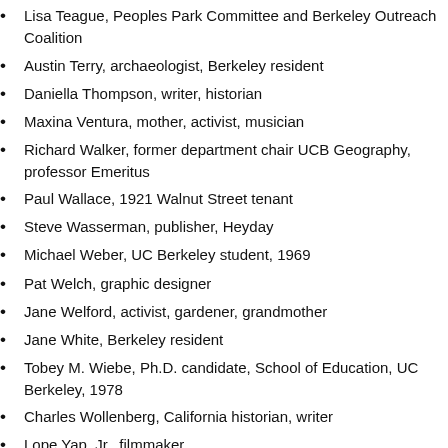Lisa Teague, Peoples Park Committee and Berkeley Outreach Coalition
Austin Terry, archaeologist, Berkeley resident
Daniella Thompson, writer, historian
Maxina Ventura, mother, activist, musician
Richard Walker, former department chair UCB Geography, professor Emeritus
Paul Wallace, 1921 Walnut Street tenant
Steve Wasserman, publisher, Heyday
Michael Weber, UC Berkeley student, 1969
Pat Welch, graphic designer
Jane Welford, activist, gardener, grandmother
Jane White, Berkeley resident
Tobey M. Wiebe, Ph.D. candidate, School of Education, UC Berkeley, 1978
Charles Wollenberg, California historian, writer
Lope Yap, Jr., filmmaker